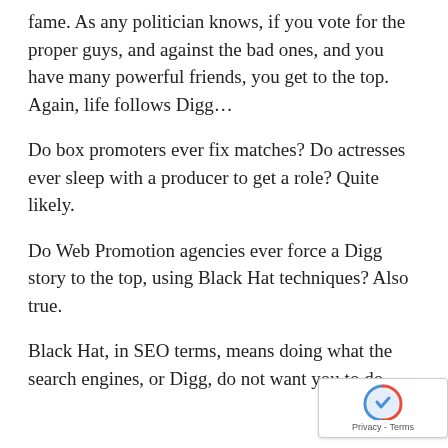fame. As any politician knows, if you vote for the proper guys, and against the bad ones, and you have many powerful friends, you get to the top. Again, life follows Digg…
Do box promoters ever fix matches? Do actresses ever sleep with a producer to get a role? Quite likely.
Do Web Promotion agencies ever force a Digg story to the top, using Black Hat techniques? Also true.
Black Hat, in SEO terms, means doing what the search engines, or Digg, do not want you to do…